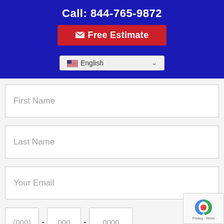Call: 844-765-9872
Free Estimate
English
First Name
Last Name
Your Email
(000) - 000 - 0000